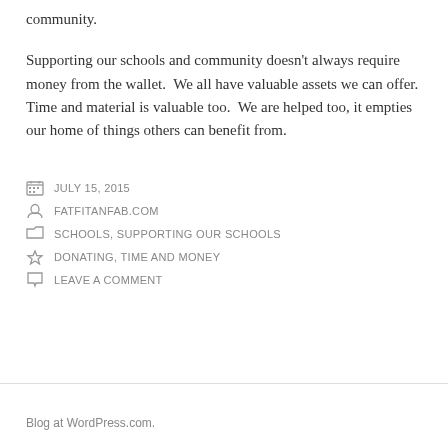community.
Supporting our schools and community doesn't always require money from the wallet.  We all have valuable assets we can offer.  Time and material is valuable too.  We are helped too, it empties our home of things others can benefit from.
JULY 15, 2015
FATFITANFAB.COM
SCHOOLS, SUPPORTING OUR SCHOOLS
DONATING, TIME AND MONEY
LEAVE A COMMENT
Blog at WordPress.com.